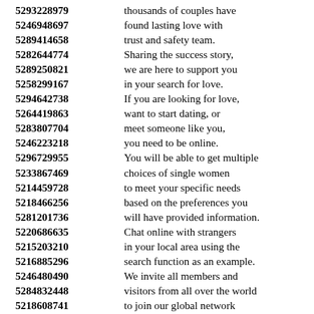5293228979 thousands of couples have
5246948697 found lasting love with
5289414658 trust and safety team.
5282644774 Sharing the success story,
5289250821 we are here to support you
5258299167 in your search for love.
5294642738 If you are looking for love,
5264419863 want to start dating, or
5283807704 meet someone like you,
5246223218 you need to be online.
5296729955 You will be able to get multiple
5233867469 choices of single women
5214459728 to meet your specific needs
5218466256 based on the preferences you
5281201736 will have provided information.
5220686635 Chat online with strangers
5215203210 in your local area using the
5216885296 search function as an example.
5246480490 We invite all members and
5284832448 visitors from all over the world
5218608741 to join our global network
5232895899 making the search for love
5214776494 as far reaching as possible.
5286704919 Finding your ideal match
5275336843 in your local neighborhood